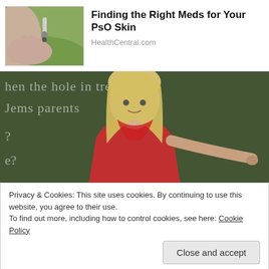[Figure (photo): Small ad image: hand holding pill/medicine dropper with green background]
Finding the Right Meds for Your PsO Skin
HealthCentral.com
[Figure (photo): Woman in red scarf pointing in front of a chalkboard with partial text visible: 'hen the hole in ... tree is filled', 'Jems parents', 'e?']
Privacy & Cookies: This site uses cookies. By continuing to use this website, you agree to their use.
To find out more, including how to control cookies, see here: Cookie Policy
Close and accept
We Will Guess Your Education Level in 30